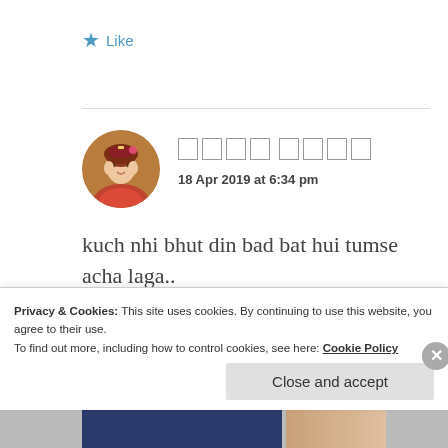★ Like
[Figure (photo): Circular avatar of a woman in traditional Indian attire with jewelry and floral hair decoration]
□□□□ □□□□
18 Apr 2019 at 6:34 pm
kuch nhi bhut din bad bat hui tumse acha laga..
Privacy & Cookies: This site uses cookies. By continuing to use this website, you agree to their use.
To find out more, including how to control cookies, see here: Cookie Policy
Close and accept